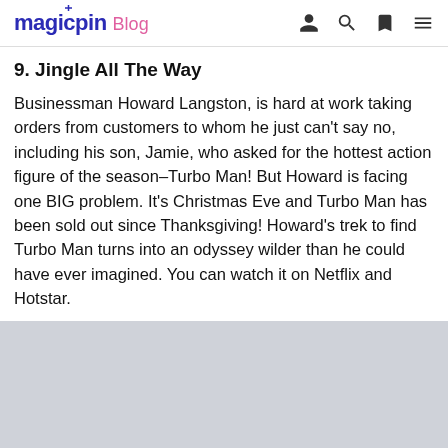magicpin Blog
9. Jingle All The Way
Businessman Howard Langston, is hard at work taking orders from customers to whom he just can't say no, including his son, Jamie, who asked for the hottest action figure of the season–Turbo Man! But Howard is facing one BIG problem. It's Christmas Eve and Turbo Man has been sold out since Thanksgiving! Howard's trek to find Turbo Man turns into an odyssey wilder than he could have ever imagined. You can watch it on Netflix and Hotstar.